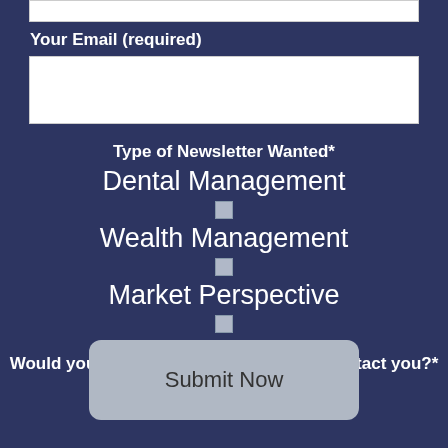Your Email (required)
Type of Newsletter Wanted*
Dental Management
Wealth Management
Market Perspective
Would you like an OmniStar advisor to contact you?* Yes
Submit Now